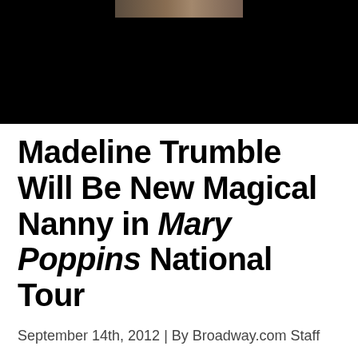[Figure (photo): Black background with a partial photo strip at top showing faces, fading to black]
Madeline Trumble Will Be New Magical Nanny in Mary Poppins National Tour
September 14th, 2012 | By Broadway.com Staff
[Figure (other): Social sharing icons: Facebook, Telegram/send, Twitter]